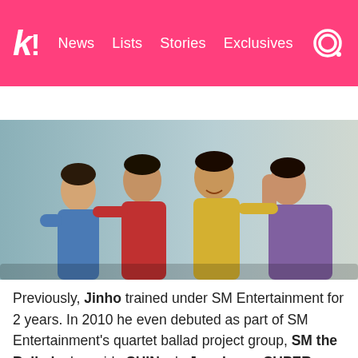k! News Lists Stories Exclusives
BTS  BLACKPINK  TWICE  Girls' Generation  NCT  aespa
[Figure (photo): Four young men standing together with arms around each other, wearing colorful t-shirts (blue, red, yellow, purple), smiling, against a light grey gradient background. Group photo of SM the Ballad members.]
Previously, Jinho trained under SM Entertainment for 2 years. In 2010 he even debuted as part of SM Entertainment's quartet ballad project group, SM the Ballad, alongside SHINee's Jonghyun, SUPER JUNIOR's Kyuhyun, and TRAX's Jay Kim. It was believed that he would be a member of EXO.